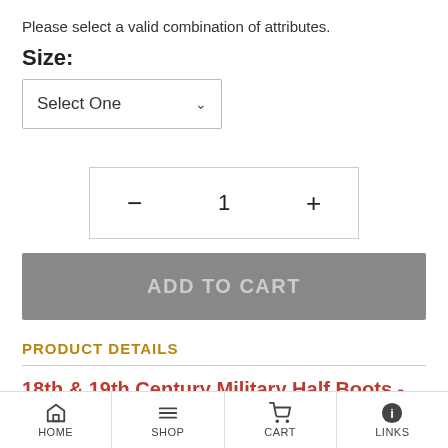Please select a valid combination of attributes.
Size:
Select One
— 1 +
ADD TO CART
PRODUCT DETAILS
18th & 19th Century Military Half Boots - Brown
HOME  SHOP  CART  LINKS